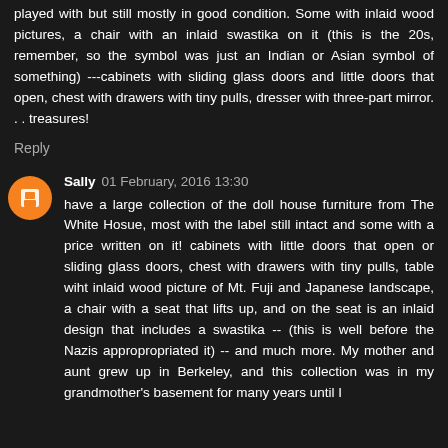played with but still mostly in good condition. Some with inlaid wood pictures, a chair with an inlaid swastika on it (this is the 20s, remember, so the symbol was just an Indian or Asian symbol of something) ---cabinets with sliding glass doors and little doors that open, chest with drawers with tiny pulls, dresser with three-part mirror. . . treasures!
Reply
Sally 01 February, 2016 13:30
have a large collection of the doll house furniture from The White Hosue, most with the label still intact and some with a price written on it! cabinets with little doors that open or sliding glass doors, chest with drawers with tiny pulls, table wiht inlaid wood picture of Mt. Fuji and Japanese landscape, a chair with a seat that lifts up, and on the seat is an inlaid design that includes a swastika -- (this is well before the Nazis appropropriated it) -- and much more. My mother and aunt grew up in Berkeley, and this collection was in my grandmother's basement for many years until I